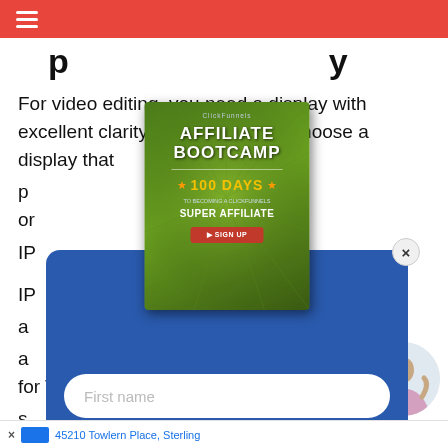(partially visible title text)
For video editing, you need a display with excellent clarity. It’s important to choose a display that p[...]ing or IP[...] IP[...]ving a[...]rection a[..., for TN s[...]n’t look s[...]
[Figure (infographic): Pop-up modal with blue background containing Affiliate Bootcamp book cover, First name input field, email input field, and Download Free Affiliate Guide button]
[Figure (photo): Woman sitting with laptop, circular thumbnail in bottom right corner]
45210 Towlern Place, Sterling